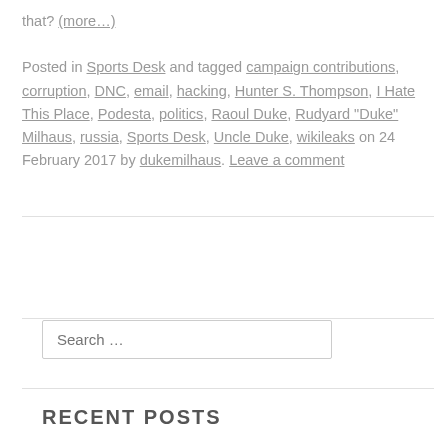that? (more…) Posted in Sports Desk and tagged campaign contributions, corruption, DNC, email, hacking, Hunter S. Thompson, I Hate This Place, Podesta, politics, Raoul Duke, Rudyard "Duke" Milhaus, russia, Sports Desk, Uncle Duke, wikileaks on 24 February 2017 by dukemilhaus. Leave a comment
Search …
RECENT POSTS